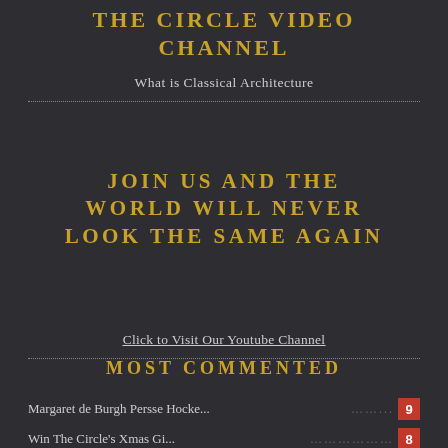THE CIRCLE VIDEO CHANNEL
What is Classical Architecture
JOIN US AND THE WORLD WILL NEVER LOOK THE SAME AGAIN
Click to Visit Our Youtube Channel
MOST COMMENTED
Margaret de Burgh Persse Hocke... …….. 9
Win The Circle's Xmas Gi... …………… 8